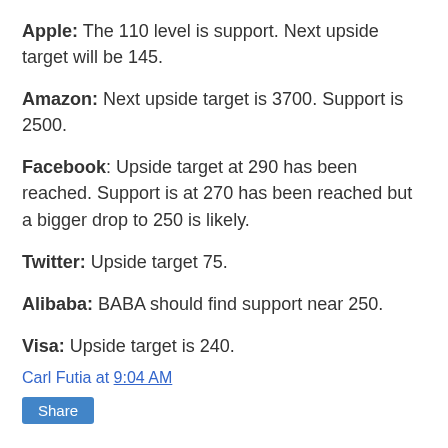Apple: The 110 level is support. Next upside target will be 145.
Amazon: Next upside target is 3700. Support is 2500.
Facebook: Upside target at 290 has been reached. Support is at 270 has been reached but a bigger drop to 250 is likely.
Twitter: Upside target 75.
Alibaba: BABA should find support near 250.
Visa: Upside target is 240.
Carl Futia at 9:04 AM
Share
No comments:
Post a Comment